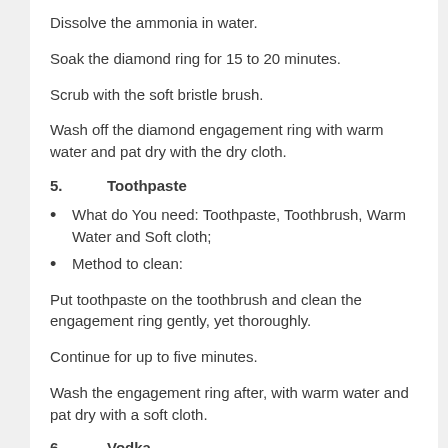Dissolve the ammonia in water.
Soak the diamond ring for 15 to 20 minutes.
Scrub with the soft bristle brush.
Wash off the diamond engagement ring with warm water and pat dry with the dry cloth.
5.      Toothpaste
What do You need: Toothpaste, Toothbrush, Warm Water and Soft cloth;
Method to clean:
Put toothpaste on the toothbrush and clean the engagement ring gently, yet thoroughly.
Continue for up to five minutes.
Wash the engagement ring after, with warm water and pat dry with a soft cloth.
6.      Vodka
What do You need: Vodka (4-5 Drops), Warm Water( Half Cup), Cotton and Dry fabric;
Method to clean: